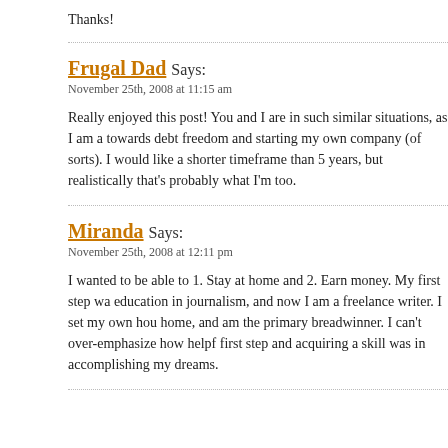Thanks!
Frugal Dad Says:
November 25th, 2008 at 11:15 am

Really enjoyed this post! You and I are in such similar situations, as I am a towards debt freedom and starting my own company (of sorts). I would like a shorter timeframe than 5 years, but realistically that's probably what I'm too.
Miranda Says:
November 25th, 2008 at 12:11 pm

I wanted to be able to 1. Stay at home and 2. Earn money. My first step wa education in journalism, and now I am a freelance writer. I set my own hou home, and am the primary breadwinner. I can't over-emphasize how helpf first step and acquiring a skill was in accomplishing my dreams.